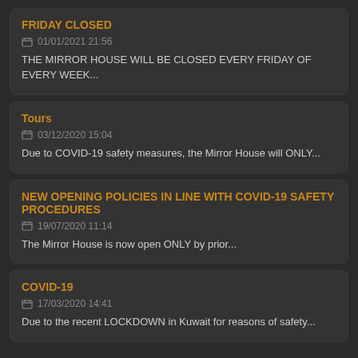FRIDAY CLOSED
01/01/2021 21:56
THE MIRROR HOUSE WILL BE CLOSED EVERY FRIDAY OF EVERY WEEK...
Tours
03/12/2020 15:04
Due to COVID-19 safety measures, the Mirror House will ONLY...
NEW OPENING POLICIES IN LINE WITH COVID-19 SAFETY PROCEDURES
19/07/2020 11:14
The Mirror House is now open ONLY by prior...
COVID-19
17/03/2020 14:41
Due to the recent LOCKDOWN in Kuwait for reasons of safety...